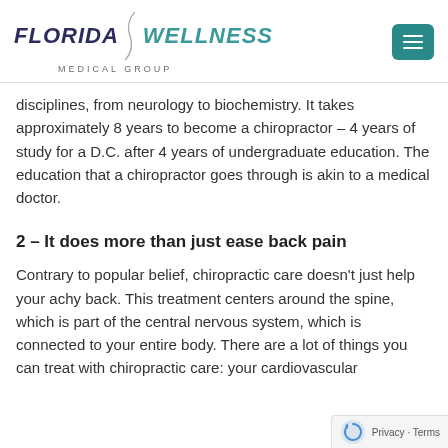FLORIDA WELLNESS MEDICAL GROUP
disciplines, from neurology to biochemistry. It takes approximately 8 years to become a chiropractor – 4 years of study for a D.C. after 4 years of undergraduate education. The education that a chiropractor goes through is akin to a medical doctor.
2 – It does more than just ease back pain
Contrary to popular belief, chiropractic care doesn't just help your achy back. This treatment centers around the spine, which is part of the central nervous system, which is connected to your entire body. There are a lot of things you can treat with chiropractic care: your cardiovascular